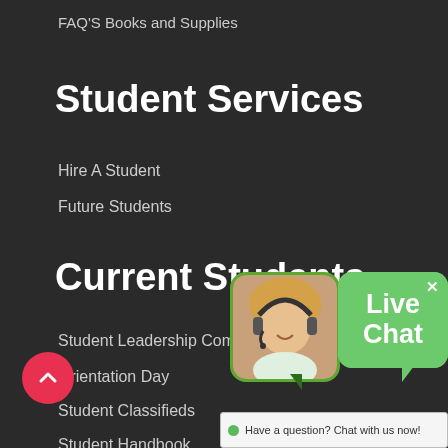FAQ'S Books and Supplies
Student Services
Hire A Student
Future Students
Current Students
Student Leadership Committee
Orientation Day
Student Classifieds
Student Handbook
[Figure (screenshot): Live Chat widget with a customer service representative photo inside a dark green speech bubble and 'Live Chat' text in a lighter green speech bubble with a close X button]
Have a question? Chat with us now!